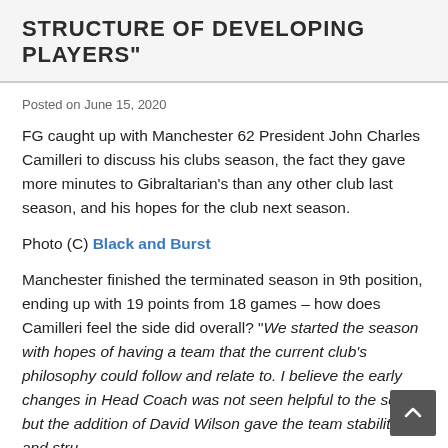STRUCTURE OF DEVELOPING PLAYERS"
Posted on June 15, 2020
FG caught up with Manchester 62 President John Charles Camilleri to discuss his clubs season, the fact they gave more minutes to Gibraltarian's than any other club last season, and his hopes for the club next season.
Photo (C) Black and Burst
Manchester finished the terminated season in 9th position, ending up with 19 points from 18 games – how does Camilleri feel the side did overall? “We started the season with hopes of having a team that the current club’s philosophy could follow and relate to. I believe the early changes in Head Coach was not seen helpful to the squad but the addition of David Wilson gave the team stability and structure for the remainder of the season.